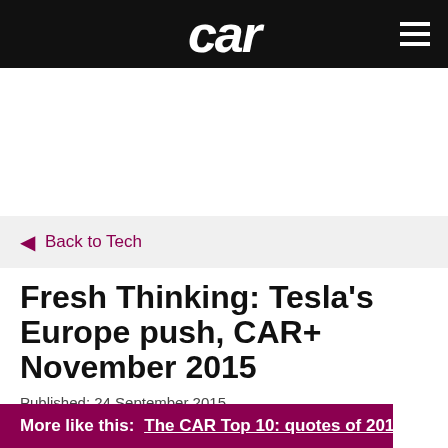car
Back to Tech
Fresh Thinking: Tesla's Europe push, CAR+ November 2015
Published: 24 September 2015
More like this:  The CAR Top 10: quotes of 2015